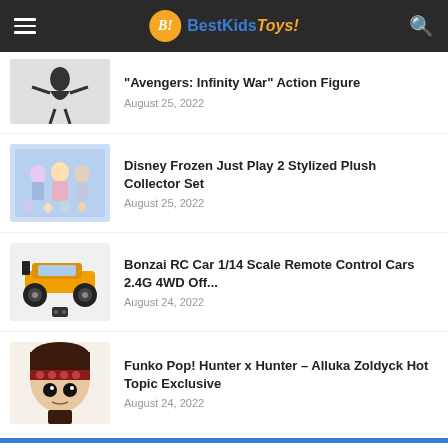BestKidsToys!
"Avengers: Infinity War" Action Figure
August 25, 2022
Disney Frozen Just Play 2 Stylized Plush Collector Set
August 25, 2022
Bonzai RC Car 1/14 Scale Remote Control Cars 2.4G 4WD Off...
August 24, 2022
Funko Pop! Hunter x Hunter – Alluka Zoldyck Hot Topic Exclusive
August 24, 2022